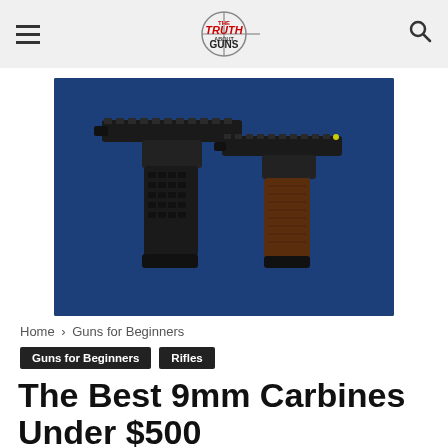The Truth About Guns
[Figure (photo): Two pistols with picatinny rail slides displayed on a dark blue background — one with a black polymer grip, one with a brown/wood-style grip]
Home › Guns for Beginners
Guns for Beginners   Rifles
The Best 9mm Carbines Under $500